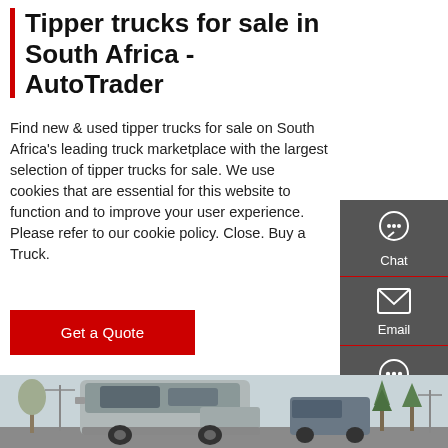Tipper trucks for sale in South Africa - AutoTrader
Find new & used tipper trucks for sale on South Africa's leading truck marketplace with the largest selection of tipper trucks for sale. We use cookies that are essential for this website to function and to improve your user experience. Please refer to our cookie policy. Close. Buy a Truck.
Get a Quote
[Figure (screenshot): Sidebar with Chat, Email, Contact, Top navigation icons on dark grey background]
[Figure (photo): Photo of tipper/heavy trucks parked outdoors with trees and utility poles in background]